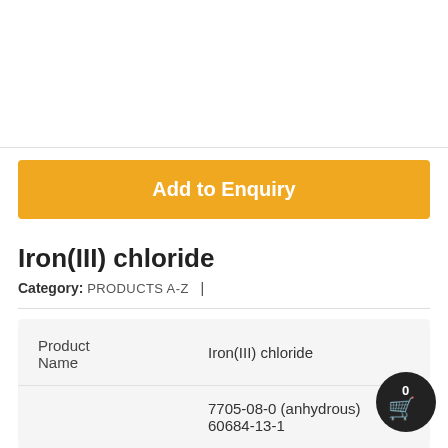[Figure (other): White blank image area at top of page]
Add to Enquiry
Iron(III) chloride
Category: PRODUCTS A-Z |
| Product Name | Iron(III) chloride |
|  | 7705-08-0 (anhydrous) 60684-13-1 |